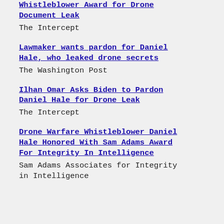Whistleblower Award for Drone Document Leak
The Intercept
Lawmaker wants pardon for Daniel Hale, who leaked drone secrets
The Washington Post
Ilhan Omar Asks Biden to Pardon Daniel Hale for Drone Leak
The Intercept
Drone Warfare Whistleblower Daniel Hale Honored With Sam Adams Award For Integrity In Intelligence
Sam Adams Associates for Integrity in Intelligence